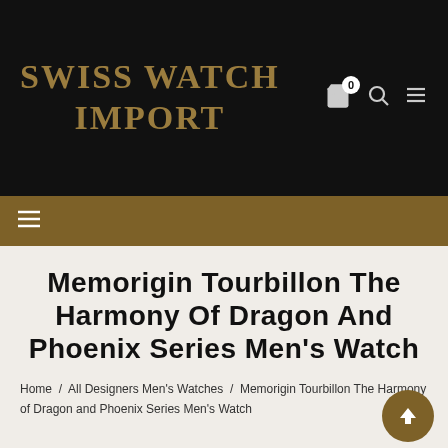Swiss Watch Import
Memorigin Tourbillon The Harmony Of Dragon And Phoenix Series Men's Watch
Home / All Designers Men's Watches / Memorigin Tourbillon The Harmony of Dragon and Phoenix Series Men's Watch